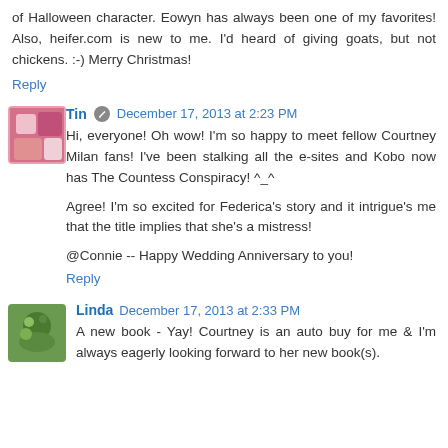of Halloween character. Eowyn has always been one of my favorites! Also, heifer.com is new to me. I'd heard of giving goats, but not chickens. :-) Merry Christmas!
Reply
Tin  December 17, 2013 at 2:23 PM
Hi, everyone! Oh wow! I'm so happy to meet fellow Courtney Milan fans! I've been stalking all the e-sites and Kobo now has The Countess Conspiracy! ^_^

Agree! I'm so excited for Federica's story and it intrigue's me that the title implies that she's a mistress!

@Connie -- Happy Wedding Anniversary to you!
Reply
Linda  December 17, 2013 at 2:33 PM
A new book - Yay! Courtney is an auto buy for me & I'm always eagerly looking forward to her new book(s).